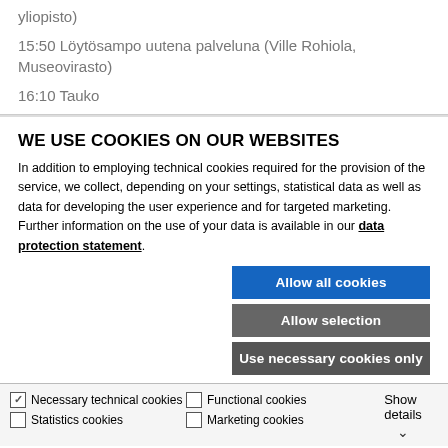yliopisto)
15:50 Löytösampo uutena palveluna (Ville Rohiola, Museovirasto)
16:10 Tauko
WE USE COOKIES ON OUR WEBSITES
In addition to employing technical cookies required for the provision of the service, we collect, depending on your settings, statistical data as well as data for developing the user experience and for targeted marketing. Further information on the use of your data is available in our data protection statement.
Allow all cookies
Allow selection
Use necessary cookies only
Necessary technical cookies  Functional cookies  Statistics cookies  Marketing cookies  Show details